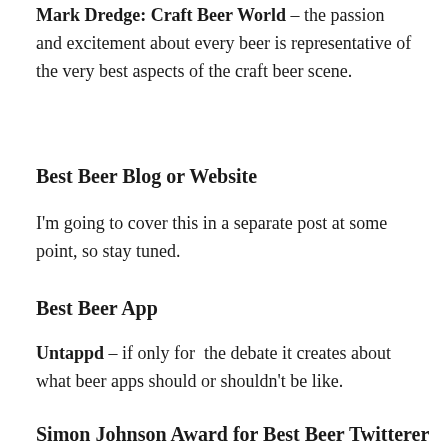Mark Dredge: Craft Beer World – the passion and excitement about every beer is representative of the very best aspects of the craft beer scene.
Best Beer Blog or Website
I'm going to cover this in a separate post at some point, so stay tuned.
Best Beer App
Untappd – if only for the debate it creates about what beer apps should or shouldn't be like.
Simon Johnson Award for Best Beer Twitterer
Nothing has made me chortle this year as much as Let There Be Tim.
Honourable montions for Boak and Bailey, for participating